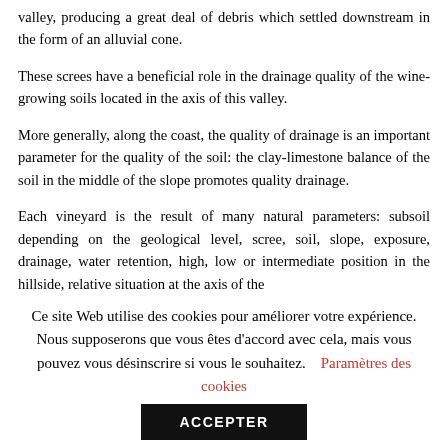valley, producing a great deal of debris which settled downstream in the form of an alluvial cone.
These screes have a beneficial role in the drainage quality of the wine-growing soils located in the axis of this valley.
More generally, along the coast, the quality of drainage is an important parameter for the quality of the soil: the clay-limestone balance of the soil in the middle of the slope promotes quality drainage.
Each vineyard is the result of many natural parameters: subsoil depending on the geological level, scree, soil, slope, exposure, drainage, water retention, high, low or intermediate position in the hillside, relative situation at the axis of the
Ce site Web utilise des cookies pour améliorer votre expérience. Nous supposerons que vous êtes d'accord avec cela, mais vous pouvez vous désinscrire si vous le souhaitez.    Paramètres des cookies
ACCEPTER